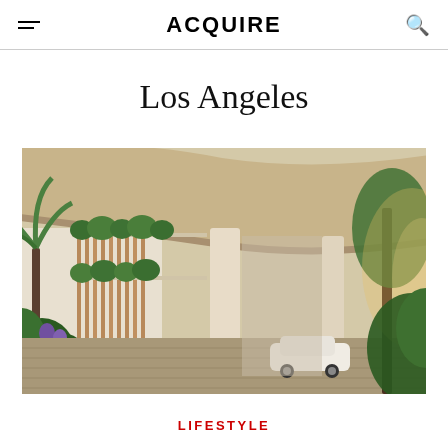ACQUIRE
Los Angeles
[Figure (photo): Architectural rendering of a luxury building exterior with a large overhanging roof canopy, white columns, lush tropical vegetation, wooden facade elements, balconies with plants, and a white car on a paved driveway. Warm golden light filters through trees on the right.]
LIFESTYLE